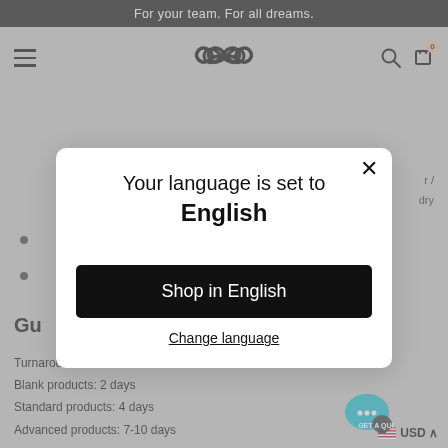For your team. For all dreams.
[Figure (screenshot): Navigation bar with hamburger menu, infinity loop logo, search icon, and cart icon with badge 0]
Your language is set to English
Shop in English
Change language
Gue...
Turnaround Time:
Blank products: 2 days
Standard products: 4 days
Advanced products: 7-10 days
USD